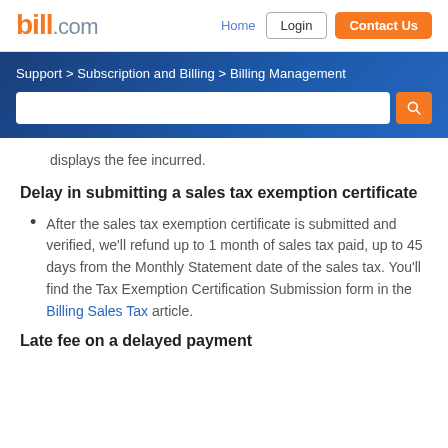bill.com | Home | Login | Contact Us
Support > Subscription and Billing > Billing Management
displays the fee incurred.
Delay in submitting a sales tax exemption certificate
After the sales tax exemption certificate is submitted and verified, we'll refund up to 1 month of sales tax paid, up to 45 days from the Monthly Statement date of the sales tax. You'll find the Tax Exemption Certification Submission form in the Billing Sales Tax article.
Late fee on a delayed payment